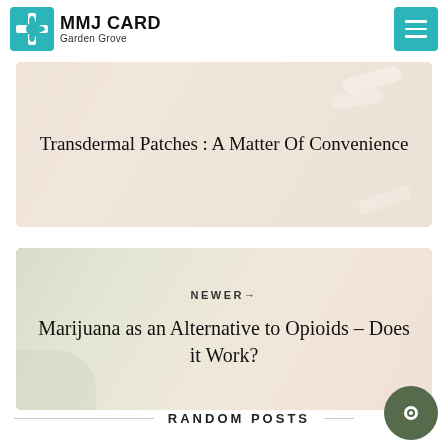[Figure (logo): MMJ Card Garden Grove logo with teal cannabis/cross icon]
[Figure (screenshot): Blog post card with beige/tan background: Transdermal Patches : A Matter Of Convenience]
Transdermal Patches : A Matter Of Convenience
[Figure (screenshot): Blog post card with green/tan background: NEWER→ Marijuana as an Alternative to Opioids – Does it Work?]
NEWER→
Marijuana as an Alternative to Opioids – Does it Work?
RANDOM POSTS